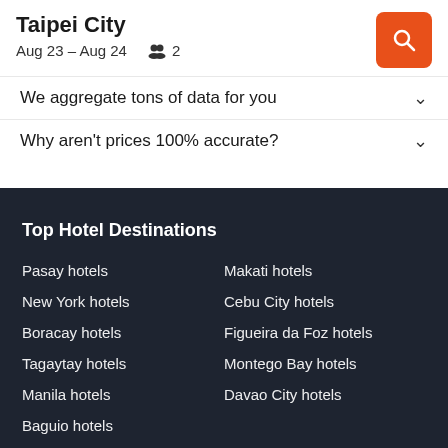Taipei City | Aug 23 – Aug 24  2
We aggregate tons of data for you
Why aren't prices 100% accurate?
Top Hotel Destinations
Pasay hotels
Makati hotels
New York hotels
Cebu City hotels
Boracay hotels
Figueira da Foz hotels
Tagaytay hotels
Montego Bay hotels
Manila hotels
Davao City hotels
Baguio hotels